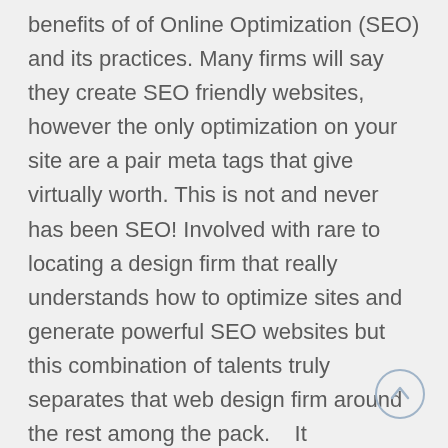benefits of of Online Optimization (SEO) and its practices. Many firms will say they create SEO friendly websites, however the only optimization on your site are a pair meta tags that give virtually worth. This is not and never has been SEO! Involved with rare to locating a design firm that really understands how to optimize sites and generate powerful SEO websites but this combination of talents truly separates that web design firm around the rest among the pack.    It guarantees the efficiency of website. What is the utilization of a letter f you cannot read its pages? Is actually possible to the